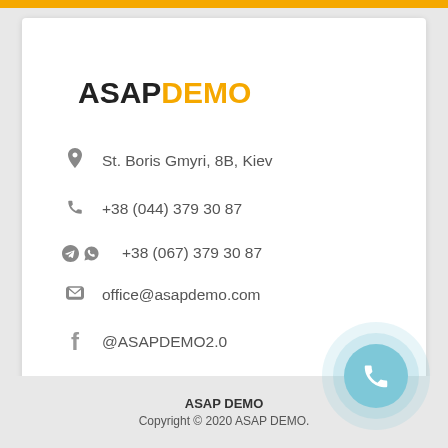ASAPDEMO
St. Boris Gmyri, 8B, Kiev
+38 (044) 379 30 87
+38 (067) 379 30 87
office@asapdemo.com
@ASAPDEMO2.0
ASAP DEMO
Copyright © 2020 ASAP DEMO.